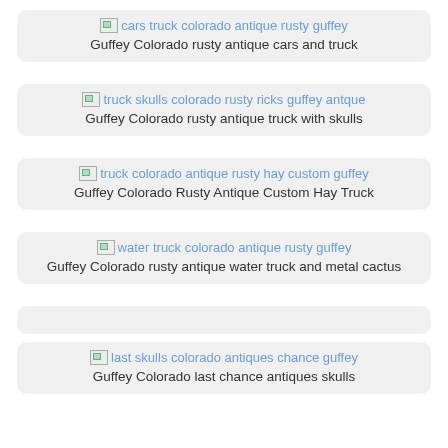[Figure (screenshot): Broken image placeholder with alt text 'cars truck colorado antique rusty guffey' in blue link color]
Guffey Colorado rusty antique cars and truck
[Figure (screenshot): Broken image placeholder with alt text 'truck skulls colorado rusty ricks guffey antque' in blue link color]
Guffey Colorado rusty antique truck with skulls
[Figure (screenshot): Broken image placeholder with alt text 'truck colorado antique rusty hay custom guffey' in blue link color]
Guffey Colorado Rusty Antique Custom Hay Truck
[Figure (screenshot): Broken image placeholder with alt text 'water truck colorado antique rusty guffey' in blue link color]
Guffey Colorado rusty antique water truck and metal cactus
[Figure (screenshot): Broken image placeholder with alt text 'last skulls colorado antiques chance guffey' in blue link color]
Guffey Colorado last chance antiques skulls